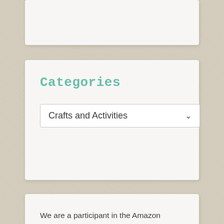Categories
Crafts and Activities
We are a participant in the Amazon Services LLC Associates Program, an affiliate advertising program designed to provide a means for us to earn fees by linking to Amazon.com and affiliated sites.